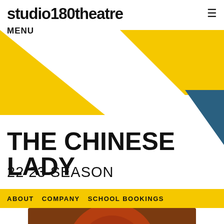studio180theatre
MENU
[Figure (illustration): Geometric decorative shapes: yellow triangles and blue/teal triangle forming abstract background design behind the header and title area]
THE CHINESE LADY
22 23 SEASON
ABOUT   COMPANY   SCHOOL BOOKINGS
[Figure (photo): Close-up photo of a person in red/orange costume and makeup, possibly Chinese traditional dress, shown from above against a warm brown/wood-grain background]